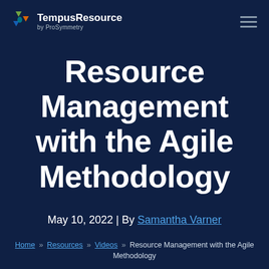TempusResource by ProSymmetry
Resource Management with the Agile Methodology
May 10, 2022 | By Samantha Varner
Home » Resources » Videos » Resource Management with the Agile Methodology